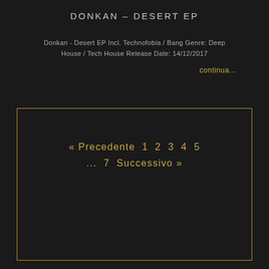DONKAN – DESERT EP
Donkan - Desert EP Incl. Technofobia / Bang Genre: Deep House / Tech House Release Date: 14/12/2017
continua...
[Figure (other): Bordered box with pagination navigation: « Precedente 1 2 3 4 5 ... 7 Successivo »]